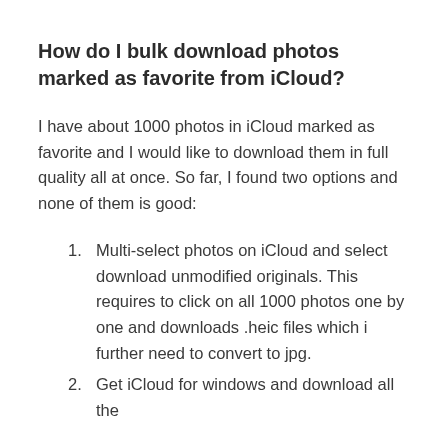How do I bulk download photos marked as favorite from iCloud?
I have about 1000 photos in iCloud marked as favorite and I would like to download them in full quality all at once. So far, I found two options and none of them is good:
Multi-select photos on iCloud and select download unmodified originals. This requires to click on all 1000 photos one by one and downloads .heic files which i further need to convert to jpg.
Get iCloud for windows and download all the